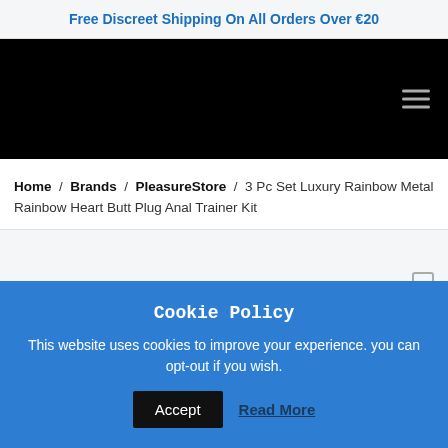Free Discreet Shipping On All Orders Over €20
[Figure (screenshot): Black navigation header bar with hamburger menu icon on the right]
Home / Brands / PleasureStore / 3 Pc Set Luxury Rainbow Metal Rainbow Heart Butt Plug Anal Trainer Kit
[Figure (photo): Product image area with partial view of a product and a navigation arrow on the right]
Cookie Policy
This website uses cookies to improve your experience. you can opt-out if you wish.
Accept
Read More